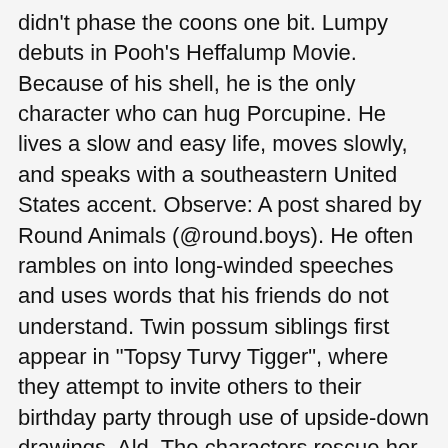didn't phase the coons one bit. Lumpy debuts in Pooh's Heffalump Movie. Because of his shell, he is the only character who can hug Porcupine. He lives a slow and easy life, moves slowly, and speaks with a southeastern United States accent. Observe: A post shared by Round Animals (@round.boys). He often rambles on into long-winded speeches and uses words that his friends do not understand. Twin possum siblings first appear in "Topsy Turvy Tigger", where they attempt to invite others to their birthday party through use of upside-down drawings. Ald. The characters rescue her, help her find the bag and accompany her home. Disney's Rabbit likes gardening, cleaning, and magic tricks. Voiced by Brenda Blethyn/Patricia Parris. Library. Stan and Heff are gangster-like villains who appeared in the episodes "The Great Honey Pot Robbery" and "A Bird in the Hand". Many parts of the USA and Europe are home to raccoons, but if you are not familiar with these unique animals allow me to … Here at Get Raccoons Out, we have been dealing with raccoons for many years, and we know all too